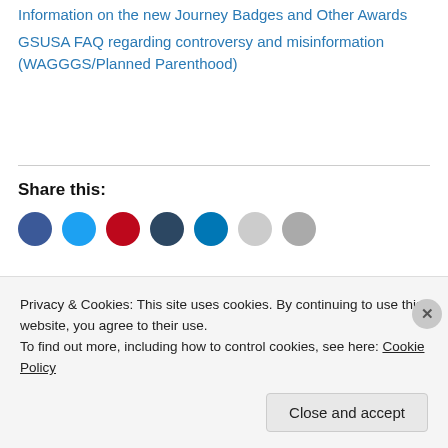Information on the new Journey Badges and Other Awards
GSUSA FAQ regarding controversy and misinformation (WAGGGS/Planned Parenthood)
Share this:
Privacy & Cookies: This site uses cookies. By continuing to use this website, you agree to their use.
To find out more, including how to control cookies, see here: Cookie Policy